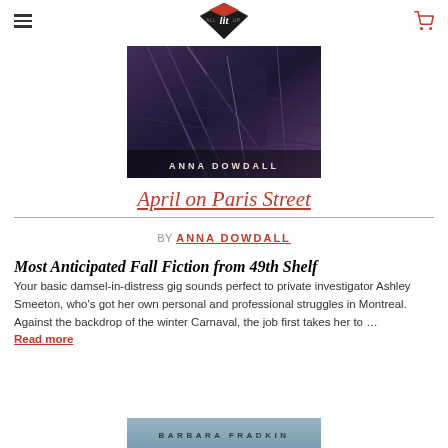All Lit Up (logo)
[Figure (photo): Book cover image with dark purple/indigo tones showing architectural elements, with author name ANNA DOWDALL in white letters at the bottom]
April on Paris Street
BY ANNA DOWDALL
Most Anticipated Fall Fiction from 49th Shelf
Your basic damsel-in-distress gig sounds perfect to private investigator Ashley Smeeton, who’s got her own personal and professional struggles in Montreal. Against the backdrop of the winter Carnaval, the job first takes her to … Read more
[Figure (photo): Bottom portion of another book cover showing author name BARBARA FRADKIN in white letters on a blue-grey background]